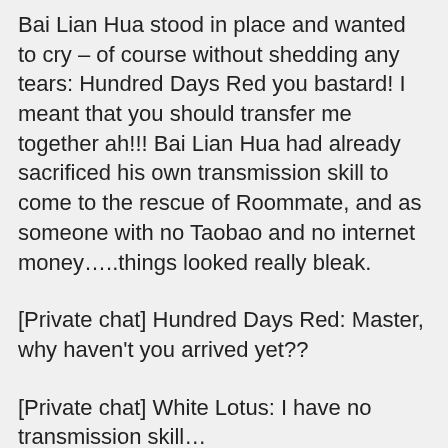Bai Lian Hua stood in place and wanted to cry – of course without shedding any tears: Hundred Days Red you bastard! I meant that you should transfer me together ah!!! Bai Lian Hua had already sacrificed his own transmission skill to come to the rescue of Roommate, and as someone with no Taobao and no internet money…..things looked really bleak.
[Private chat] Hundred Days Red: Master, why haven't you arrived yet??
[Private chat] White Lotus: I have no transmission skill…
[Private chat] Hundred Days Red: The transmission